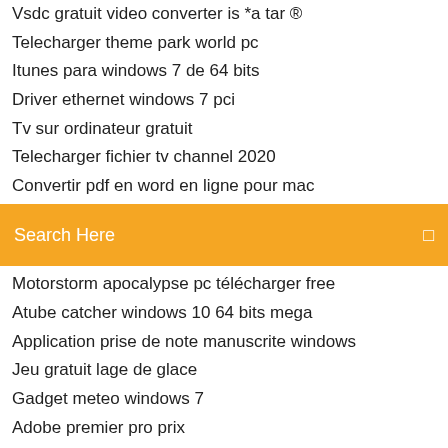Vsdc gratuit video converter is *a tar ®
Telecharger theme park world pc
Itunes para windows 7 de 64 bits
Driver ethernet windows 7 pci
Tv sur ordinateur gratuit
Telecharger fichier tv channel 2020
Convertir pdf en word en ligne pour mac
Search Here
Motorstorm apocalypse pc télécharger free
Atube catcher windows 10 64 bits mega
Application prise de note manuscrite windows
Jeu gratuit lage de glace
Gadget meteo windows 7
Adobe premier pro prix
Video converter windows 10 freeware
Telecharger windows 8 iso gratuit en francais complet pour pc
Comment se deconnecter de netflix sur tv lg